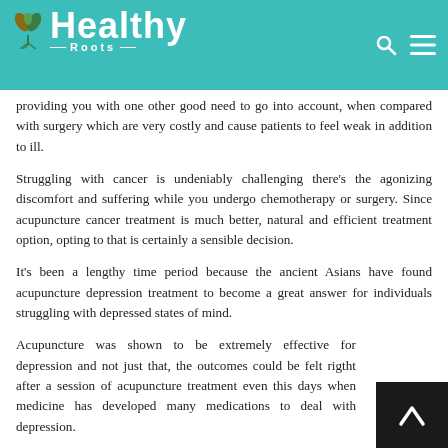Healthy Roots
providing you with one other good need to go into account, when compared with surgery which are very costly and cause patients to feel weak in addition to ill.
Struggling with cancer is undeniably challenging there's the agonizing discomfort and suffering while you undergo chemotherapy or surgery. Since acupuncture cancer treatment is much better, natural and efficient treatment option, opting to that is certainly a sensible decision.
It's been a lengthy time period because the ancient Asians have found acupuncture depression treatment to become a great answer for individuals struggling with depressed states of mind.
Acupuncture was shown to be extremely effective for depression and not just that, the outcomes could be felt rigtht after a session of acupuncture treatment even this days when medicine has developed many medications to deal with depression.